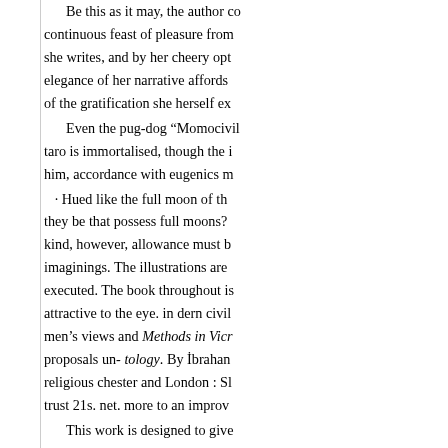Be this as it may, the author co continuous feast of pleasure from she writes, and by her cheery opt elegance of her narrative affords of the gratification she herself ex

Even the pug-dog “Momocivil taro is immortalised, though the him, accordance with eugenics m

· Hued like the full moon of th they be that possess full moons? kind, however, allowance must b imaginings. The illustrations are executed. The book throughout is attractive to the eye. in dern civil men’s views and Methods in Vicr proposals un- tology. By İbrahan religious chester and London : Sl trust 21s. net. more to an improv

This work is designed to give